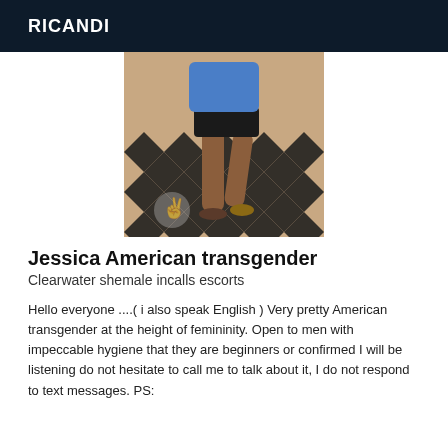RICANDI
[Figure (photo): Photo of a person standing on a black and white geometric patterned floor, wearing a blue top and black shorts, showing legs and lower body.]
Jessica American transgender
Clearwater shemale incalls escorts
Hello everyone ....( i also speak English ) Very pretty American transgender at the height of femininity. Open to men with impeccable hygiene that they are beginners or confirmed I will be listening do not hesitate to call me to talk about it, I do not respond to text messages. PS: